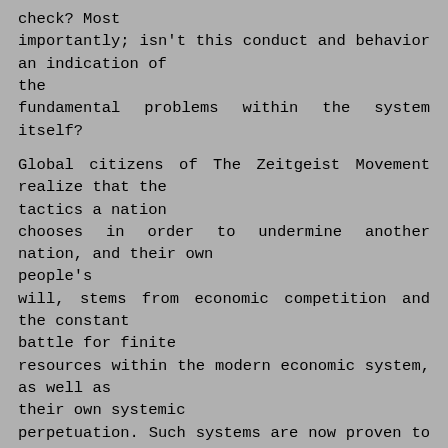check? Most importantly; isn't this conduct and behavior an indication of the fundamental problems within the system itself?

Global citizens of The Zeitgeist Movement realize that the tactics a nation chooses in order to undermine another nation, and their own people's will, stems from economic competition and the constant battle for finite resources within the modern economic system, as well as their own systemic perpetuation. Such systems are now proven to be flawed, outdated and fundamentally corrupt. The documents released thus far have proven to define the current state of geopolitics in that regard. When interpreted in the light of modern science and technology and the enormous benefits they attribute to society, the word "geopolitical", provides no